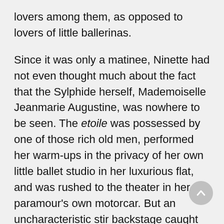lovers among them, as opposed to lovers of little ballerinas.
Since it was only a matinee, Ninette had not even thought much about the fact that the Sylphide herself, Mademoiselle Jeanmarie Augustine, was nowhere to be seen. The etoile was possessed by one of those rich old men, performed her warm-ups in the privacy of her own little ballet studio in her luxurious flat, and was rushed to the theater in her paramour's own motorcar. But an uncharacteristic stir backstage caught her attention, as did the sound of raised voices signaling something was wrong, and she looked up from her stretching among all the other little sylphs to see the ballet master, the